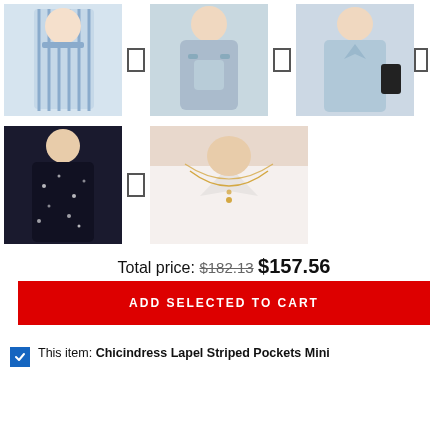[Figure (photo): Grid of 5 product photos: 3 dresses in top row, 2 items (black dress, necklace) in bottom row, with add buttons between them]
Total price: $182.13  $157.56
ADD SELECTED TO CART
☑ This item: Chicindress Lapel Striped Pockets Mini